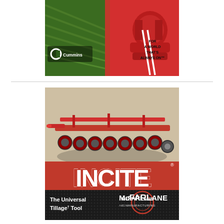[Figure (advertisement): Cummins advertisement showing green crop rows on the left and a red diesel engine on the right with the Cummins logo and tagline 'FOR A WORLD THAT'S ALWAYS ON']
[Figure (advertisement): McFarlane INCITE advertisement showing a large red tillage implement on sandy ground, with large red 'INCITE' text, tagline 'The Universal Tillage Tool' and McFarlane AG Manufacturing logo]